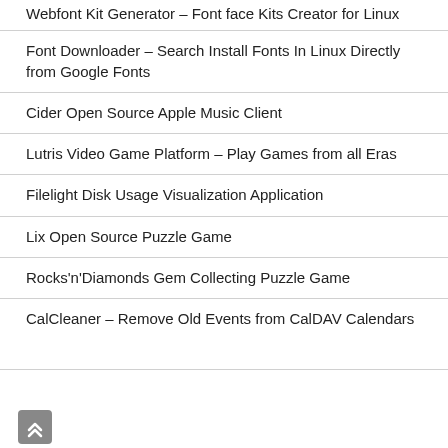Webfont Kit Generator – Font face Kits Creator for Linux
Font Downloader – Search Install Fonts In Linux Directly from Google Fonts
Cider Open Source Apple Music Client
Lutris Video Game Platform – Play Games from all Eras
Filelight Disk Usage Visualization Application
Lix Open Source Puzzle Game
Rocks'n'Diamonds Gem Collecting Puzzle Game
CalCleaner – Remove Old Events from CalDAV Calendars